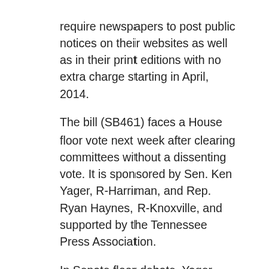require newspapers to post public notices on their websites as well as in their print editions with no extra charge starting in April, 2014. The bill (SB461) faces a House floor vote next week after clearing committees without a dissenting vote. It is sponsored by Sen. Ken Yager, R-Harriman, and Rep. Ryan Haynes, R-Knoxville, and supported by the Tennessee Press Association. In Senate floor debate, Yager noted there has been debate in the past about having public notices posted online on government websites rather than in newspapers with valid arguments on both sides. He said the legislation “tries to take the best of both and combine them into a bill that will preserve independence by allowing someone other than the government to disseminate notices.” Besides requiring the notices be posted on newspaper websites, the measure also requires each newspaper provide a link to a website where such notices from